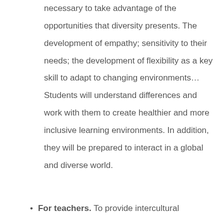necessary to take advantage of the opportunities that diversity presents. The development of empathy; sensitivity to their needs; the development of flexibility as a key skill to adapt to changing environments… Students will understand differences and work with them to create healthier and more inclusive learning environments. In addition, they will be prepared to interact in a global and diverse world.
For teachers. To provide intercultural